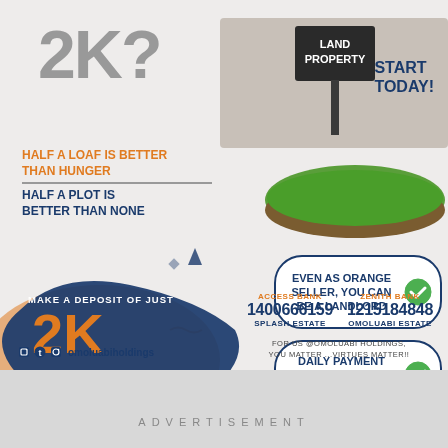[Figure (infographic): Real estate advertisement for Omoluabi Holdings. Features a '2K?' headline, land property sign graphic, slogans about half a plot being better than none, a deposit offer of 2K with balance spread over 2 years, feature boxes about being a landlord and daily payment options, bank account details for Access Bank and Zenith Bank, social media handle omoluabiholdings, and tagline 'FOR US @OMOLUABI HOLDINGS, YOU MATTER...VIRTUES MATTER!!']
2K?
START TODAY!
HALF A LOAF IS BETTER THAN HUNGER
HALF A PLOT IS BETTER THAN NONE
MAKE A DEPOSIT OF JUST
2K
& SPREAD BALANCE UP TO 2 YEARS
EVEN AS ORANGE SELLER, YOU CAN BE A LANDLORD
DAILY PAYMENT OPTION OF AS LOW AS 1K
ACCESS BANK 1400666159 SPLASH ESTATE
ZENITH BANK 1215184848 OMOLUABI ESTATE
omoluabiholdings
FOR US @OMOLUABI HOLDINGS, YOU MATTER ...VIRTUES MATTER!!
ADVERTISEMENT